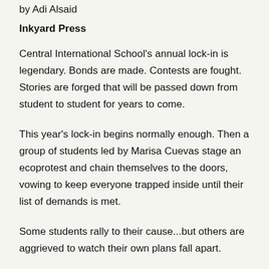by Adi Alsaid
Inkyard Press
Central International School's annual lock-in is legendary. Bonds are made. Contests are fought. Stories are forged that will be passed down from student to student for years to come.
This year's lock-in begins normally enough. Then a group of students led by Marisa Cuevas stage an ecoprotest and chain themselves to the doors, vowing to keep everyone trapped inside until their list of demands is met.
Some students rally to their cause...but others are aggrieved to watch their own plans fall apart.